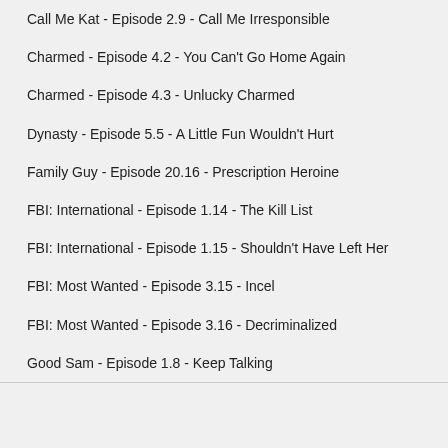Call Me Kat - Episode 2.9 - Call Me Irresponsible
Charmed - Episode 4.2 - You Can't Go Home Again
Charmed - Episode 4.3 - Unlucky Charmed
Dynasty - Episode 5.5 - A Little Fun Wouldn't Hurt
Family Guy - Episode 20.16 - Prescription Heroine
FBI: International - Episode 1.14 - The Kill List
FBI: International - Episode 1.15 - Shouldn't Have Left Her
FBI: Most Wanted - Episode 3.15 - Incel
FBI: Most Wanted - Episode 3.16 - Decriminalized
Good Sam - Episode 1.8 - Keep Talking